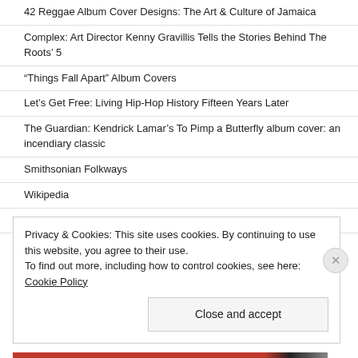42 Reggae Album Cover Designs: The Art & Culture of Jamaica
Complex: Art Director Kenny Gravillis Tells the Stories Behind The Roots’ 5
“Things Fall Apart” Album Covers
Let’s Get Free: Living Hip-Hop History Fifteen Years Later
The Guardian: Kendrick Lamar’s To Pimp a Butterfly album cover: an incendiary classic
Smithsonian Folkways
Wikipedia
AllMusicGuide
Privacy & Cookies: This site uses cookies. By continuing to use this website, you agree to their use.
To find out more, including how to control cookies, see here: Cookie Policy